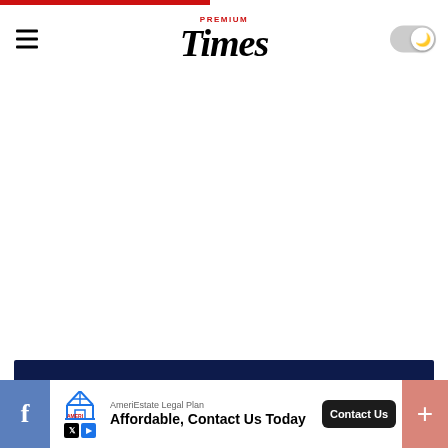Premium Times
[Figure (screenshot): White content area, mostly blank]
[Figure (infographic): Dark navy banner and gray overlay with close (X) button, partial popup/modal UI element]
[Figure (infographic): Advertisement bar: AmeriEstate Legal Plan – Affordable, Contact Us Today with Contact Us button, social media icons (Facebook, X, Play), and a plus button]